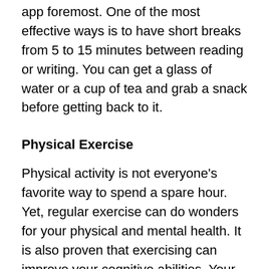app foremost. One of the most effective ways is to have short breaks from 5 to 15 minutes between reading or writing. You can get a glass of water or a cup of tea and grab a snack before getting back to it.
Physical Exercise
Physical activity is not everyone's favorite way to spend a spare hour. Yet, regular exercise can do wonders for your physical and mental health. It is also proven that exercising can improve your cognitive abilities. Your brain is flooded with extra blood, oxygen, and nutrients, after a good exercise, which then improves your thinking.
Overall, you don't have to buy a gym certificate, the Nike app will give you all the needed advice. Exercises are the cheapest way to deal with the short-term effects of stress